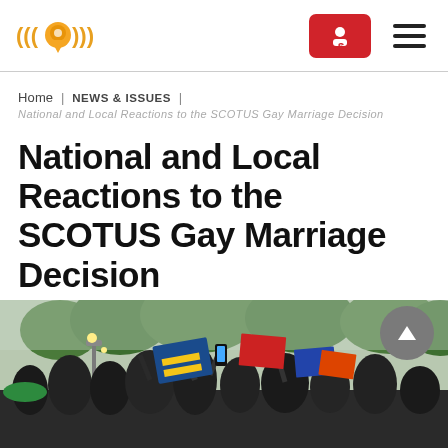Navigation header with logo, donate button, and hamburger menu
Home | NEWS & ISSUES | National and Local Reactions to the SCOTUS Gay Marriage Decision
National and Local Reactions to the SCOTUS Gay Marriage Decision
[Figure (photo): Crowd of people celebrating outdoors, waving flags including Human Rights Campaign equality flags, with trees in background]